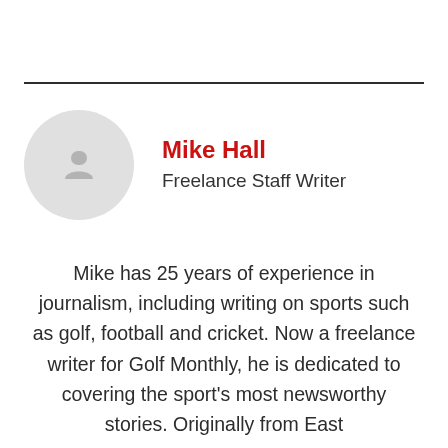[Figure (illustration): Horizontal decorative rule dividing header area from content]
Mike Hall
Freelance Staff Writer
[Figure (photo): Circular avatar placeholder with person icon in light grey]
Mike has 25 years of experience in journalism, including writing on sports such as golf, football and cricket. Now a freelance writer for Golf Monthly, he is dedicated to covering the sport's most newsworthy stories. Originally from East